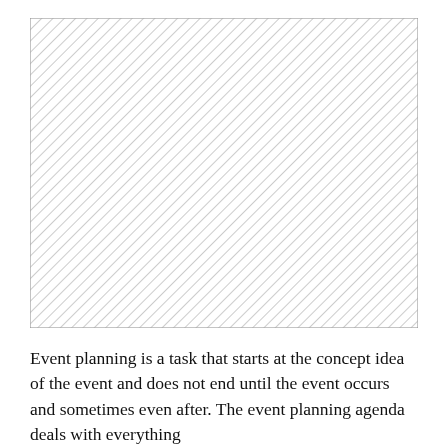[Figure (other): A rectangular image placeholder filled with diagonal hatching lines (diagonally striped pattern in gray on white background).]
Event planning is a task that starts at the concept idea of the event and does not end until the event occurs and sometimes even after. The event planning agenda deals with everything